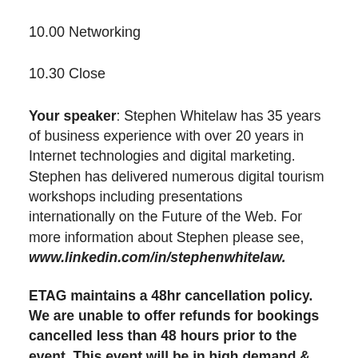10.00 Networking
10.30 Close
Your speaker: Stephen Whitelaw has 35 years of business experience with over 20 years in Internet technologies and digital marketing. Stephen has delivered numerous digital tourism workshops including presentations internationally on the Future of the Web. For more information about Stephen please see, www.linkedin.com/in/stephenwhitelaw.
ETAG maintains a 48hr cancellation policy. We are unable to offer refunds for bookings cancelled less than 48 hours prior to the event. This event will be in high demand & places are